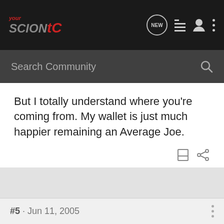your Scion tC - Search Community
But I totally understand where you're coming from. My wallet is just much happier remaining an Average Joe.
LaVaism · Registered
Joined Mar 28, 2005 · 515 Posts
#5 · Jun 11, 2005